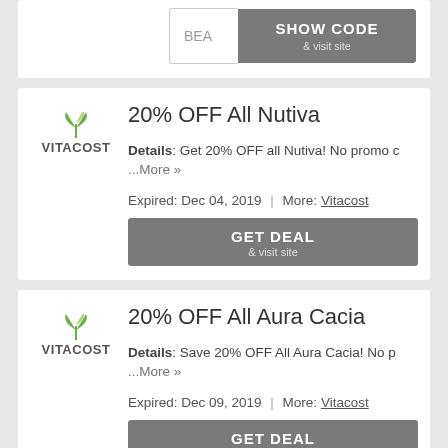[Figure (screenshot): Partial coupon card with SHOW CODE & visit site button]
20% OFF All Nutiva
Details: Get 20% OFF all Nutiva! No promo c ...More »
Expired: Dec 04, 2019 | More: Vitacost
[Figure (screenshot): GET DEAL & visit site button]
20% OFF All Aura Cacia
Details: Save 20% OFF All Aura Cacia! No p ...More »
Expired: Dec 09, 2019 | More: Vitacost
[Figure (screenshot): GET DEAL & visit site button]
20% OFF Quest Proteins, Bars and More